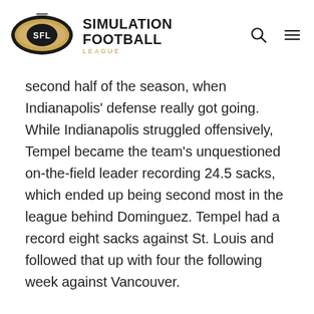[Figure (logo): Simulation Football League (SFL) logo with football eye shape and navigation icons]
second half of the season, when Indianapolis' defense really got going. While Indianapolis struggled offensively, Tempel became the team's unquestioned on-the-field leader recording 24.5 sacks, which ended up being second most in the league behind Dominguez. Tempel had a record eight sacks against St. Louis and followed that up with four the following week against Vancouver.